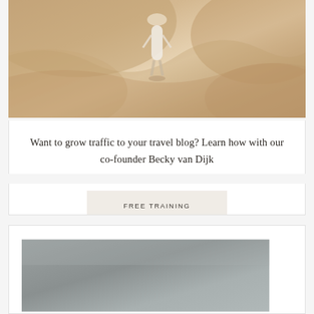[Figure (photo): Aerial view of a person in a white dress and hat standing on sandy desert terrain with ridged sand formations]
Want to grow traffic to your travel blog? Learn how with our co-founder Becky van Dijk
FREE TRAINING
[Figure (photo): Partially visible photo with grey/silver tones at the bottom of the page]